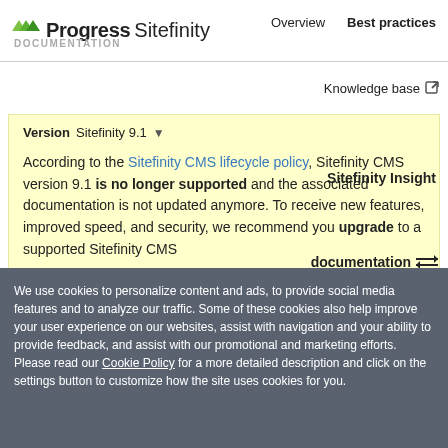Progress Sitefinity — DOCUMENTATION | Overview | Best practices
Knowledge base ↗
Version Sitefinity 9.1 ▾
According to the Sitefinity CMS lifecycle policy, Sitefinity CMS version 9.1 is no longer supported and the associated documentation is not updated anymore. To receive new features, improved speed, and security, we recommend you upgrade to a supported Sitefinity CMS
Sitefinity Insight
documentation ⇌
We use cookies to personalize content and ads, to provide social media features and to analyze our traffic. Some of these cookies also help improve your user experience on our websites, assist with navigation and your ability to provide feedback, and assist with our promotional and marketing efforts. Please read our Cookie Policy for a more detailed description and click on the settings button to customize how the site uses cookies for you.